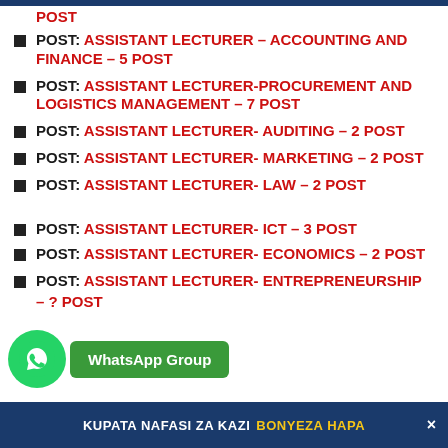POST: ASSISTANT LECTURER – ACCOUNTING AND FINANCE – 5 POST
POST: ASSISTANT LECTURER-PROCUREMENT AND LOGISTICS MANAGEMENT – 7 POST
POST: ASSISTANT LECTURER- AUDITING – 2 POST
POST: ASSISTANT LECTURER- MARKETING – 2 POST
POST: ASSISTANT LECTURER- LAW – 2 POST
POST: ASSISTANT LECTURER- ICT – 3 POST
POST: ASSISTANT LECTURER- ECONOMICS – 2 POST
POST: ASSISTANT LECTURER- ENTREPRENEURSHIP – ? POST
KUPATA NAFASI ZA KAZI BONYEZA HAPA